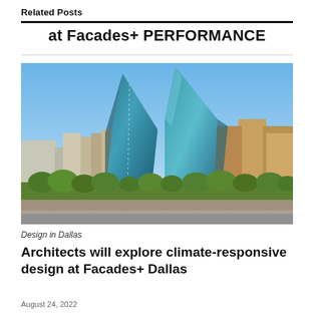Related Posts
at Facades+ PERFORMANCE
[Figure (photo): Dallas skyline featuring two prominent angular glass skyscrapers with teal-blue reflective facades among other buildings, with trees and parking lot in the foreground under a clear blue sky.]
Design in Dallas
Architects will explore climate-responsive design at Facades+ Dallas
August 24, 2022